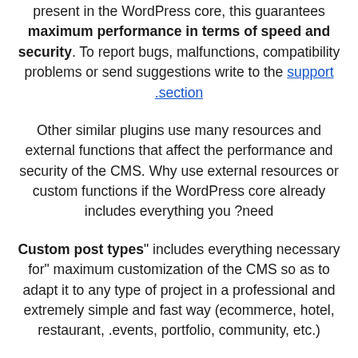present in the WordPress core, this guarantees maximum performance in terms of speed and security. To report bugs, malfunctions, compatibility problems or send suggestions write to the support section.
Other similar plugins use many resources and external functions that affect the performance and security of the CMS. Why use external resources or custom functions if the WordPress core already includes everything you need?
"Custom post types" includes everything necessary for maximum customization of the CMS so as to adapt it to any type of project in a professional and extremely simple and fast way (ecommerce, hotel, restaurant, events, portfolio, community, etc.).
What else? What are you waiting for? Start now!